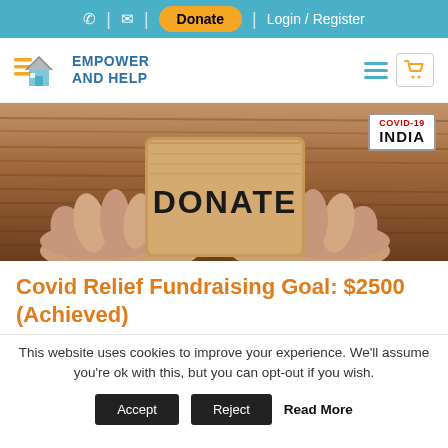📞 | ✉ | Donate | Login / Register
[Figure (logo): Empower and Help organization logo with house icon and orange/blue coloring]
[Figure (photo): Hands holding a cardboard sign that reads DONATE, with a COVID-19 INDIA badge in the top right corner, wooden background]
Covid Relief Fundraising Goal: $2500 (Achieved)
This website uses cookies to improve your experience. We'll assume you're ok with this, but you can opt-out if you wish.
Accept   Reject   Read More